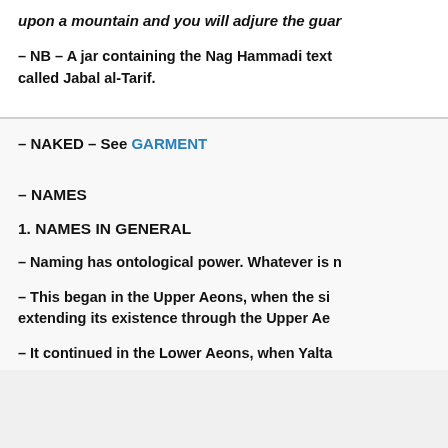upon a mountain and you will adjure the guar
– NB – A jar containing the Nag Hammadi text called Jabal al-Tarif.
– NAKED – See GARMENT
– NAMES
1. NAMES IN GENERAL
– Naming has ontological power. Whatever is n
– This began in the Upper Aeons, when the si extending its existence through the Upper Ae
– It continued in the Lower Aeons, when Yalta